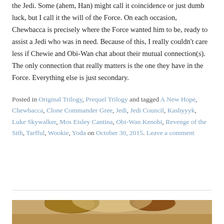the Jedi. Some (ahem, Han) might call it coincidence or just dumb luck, but I call it the will of the Force. On each occasion, Chewbacca is precisely where the Force wanted him to be, ready to assist a Jedi who was in need. Because of this, I really couldn't care less if Chewie and Obi-Wan chat about their mutual connection(s). The only connection that really matters is the one they have in the Force. Everything else is just secondary.
Posted in Original Trilogy, Prequel Trilogy and tagged A New Hope, Chewbacca, Clone Commander Gree, Jedi, Jedi Council, Kashyyyk, Luke Skywalker, Mos Eisley Cantina, Obi-Wan Kenobi, Revenge of the Sith, Tarfful, Wookie, Yoda on October 30, 2015. Leave a comment
[Figure (photo): Partial photo showing two people from shoulders up, cropped at bottom of page]